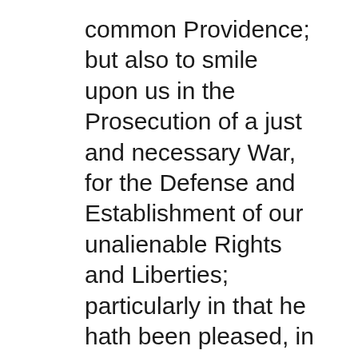common Providence; but also to smile upon us in the Prosecution of a just and necessary War, for the Defense and Establishment of our unalienable Rights and Liberties; particularly in that he hath been pleased, in so great a Measure, to prosper the Means used for the Support of our Troops, and to crown our Arms with most signal success: It is therefore recommended to the legislative or executive Powers of these UNITED STATES to set apart THURSDAY, the eighteenth Day of December next, for SOLEMN THANKSGIVING and PRAISE: That at one Time and with one Voice, the good People may express the grateful Feelings of their Hearts, and consecrate themselves to the Service of their Divine Benefactor; and that, together with their sincere Acknowledgments and Offerings, they may join the